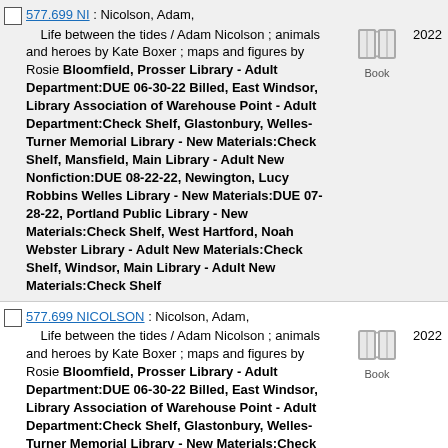577.699 NI : Nicolson, Adam, Life between the tides / Adam Nicolson ; animals and heroes by Kate Boxer ; maps and figures by Rosie Bloomfield, Prosser Library - Adult Department:DUE 06-30-22 Billed, East Windsor, Library Association of Warehouse Point - Adult Department:Check Shelf, Glastonbury, Welles-Turner Memorial Library - New Materials:Check Shelf, Mansfield, Main Library - Adult New Nonfiction:DUE 08-22-22, Newington, Lucy Robbins Welles Library - New Materials:DUE 07-28-22, Portland Public Library - New Materials:Check Shelf, West Hartford, Noah Webster Library - Adult New Materials:Check Shelf, Windsor, Main Library - Adult New Materials:Check Shelf
577.699 NICOLSON : Nicolson, Adam, Life between the tides / Adam Nicolson ; animals and heroes by Kate Boxer ; maps and figures by Rosie Bloomfield, Prosser Library - Adult Department:DUE 06-30-22 Billed, East Windsor, Library Association of Warehouse Point - Adult Department:Check Shelf, Glastonbury, Welles-Turner Memorial Library - New Materials:Check Shelf, Mansfield, Main Library - Adult New Nonfiction:DUE 08-22-22, Newington, Lucy Robbins Welles Library - New Materials:DUE 07-28-22, Portland Public Library - New Materials:Check Shelf, West Hartford